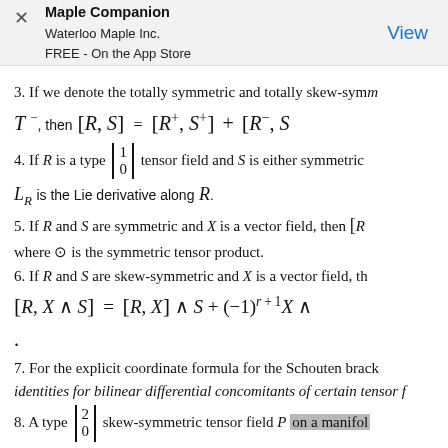Maple Companion
Waterloo Maple Inc.
FREE - On the App Store | View
3. If we denote the totally symmetric and totally skew-symm...
4. If R is a type (1 0) tensor field and S is either symmetric...
5. If R and S are symmetric and X is a vector field, then [R...
where ⊙ is the symmetric tensor product.
6. If R and S are skew-symmetric and X is a vector field, th...
.
7. For the explicit coordinate formula for the Schouten brack... identities for bilinear differential concomitants of certain tensor f...
8. A type (2 0) skew-symmetric tensor field P on a manifold...